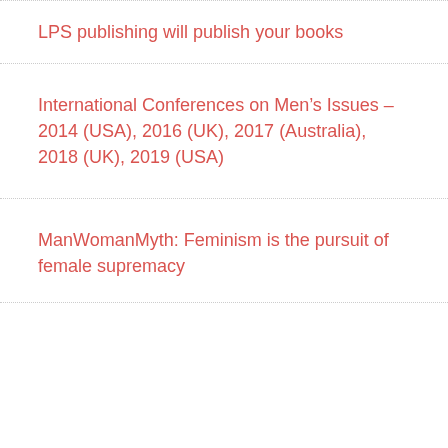LPS publishing will publish your books
International Conferences on Men's Issues – 2014 (USA), 2016 (UK), 2017 (Australia), 2018 (UK), 2019 (USA)
ManWomanMyth: Feminism is the pursuit of female supremacy